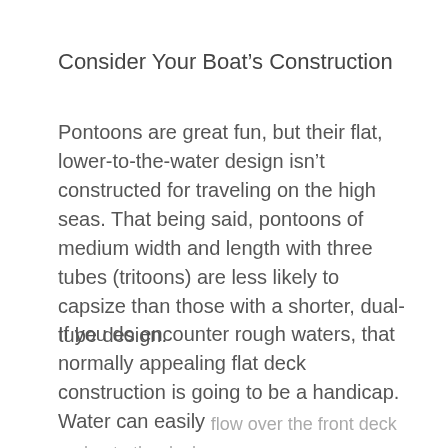Consider Your Boat’s Construction
Pontoons are great fun, but their flat, lower-to-the-water design isn’t constructed for traveling on the high seas. That being said, pontoons of medium width and length with three tubes (tritoons) are less likely to capsize than those with a shorter, dual-tube design.
If you do encounter rough waters, that normally appealing flat deck construction is going to be a handicap. Water can easily flow over the front deck and onto the deck…